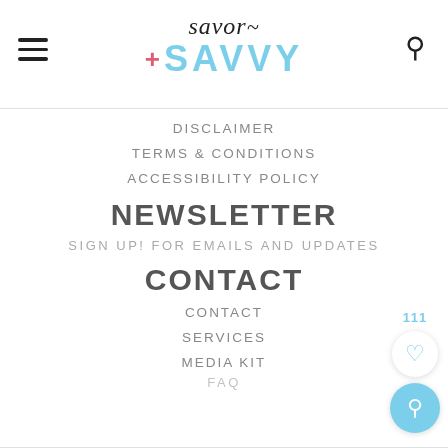[Figure (logo): Savor + Savvy logo with hamburger menu and search icon in header]
DISCLAIMER
TERMS & CONDITIONS
ACCESSIBILITY POLICY
NEWSLETTER
SIGN UP! FOR EMAILS AND UPDATES
CONTACT
CONTACT
SERVICES
MEDIA KIT
FAQ